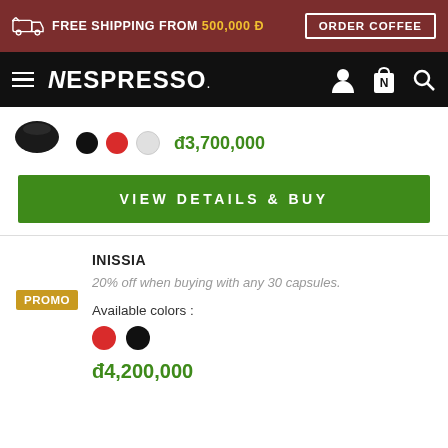FREE SHIPPING FROM 500,000 Đ  ORDER COFFEE
NESPRESSO
đ3,700,000
VIEW DETAILS & BUY
INISSIA
20% off when buying with any 30 capsules.
PROMO
Available colors :
đ4,200,000